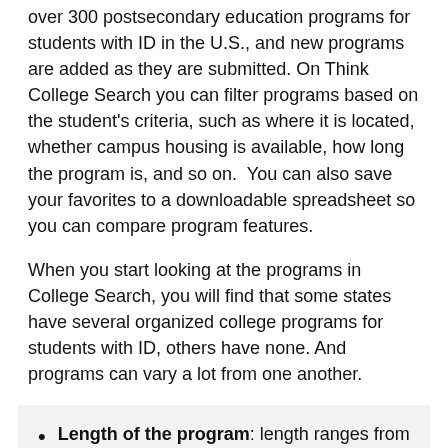over 300 postsecondary education programs for students with ID in the U.S., and new programs are added as they are submitted. On Think College Search you can filter programs based on the student's criteria, such as where it is located, whether campus housing is available, how long the program is, and so on.  You can also save your favorites to a downloadable spreadsheet so you can compare program features.
When you start looking at the programs in College Search, you will find that some states have several organized college programs for students with ID, others have none. And programs can vary a lot from one another.
Length of the program: length ranges from one year to four years, and programs can be at 2-year colleges or 4-year colleges.
Level of inclusion: some programs are fully inclusive; in others students spend some or most